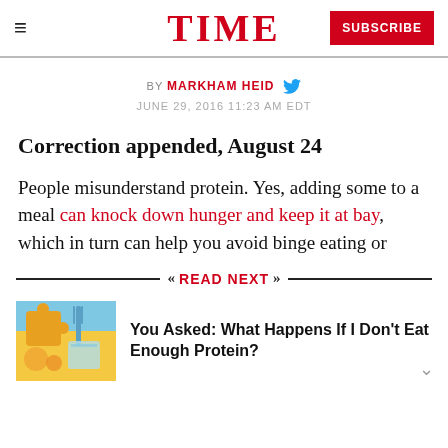TIME
BY MARKHAM HEID  JUNE 29, 2016 11:23 AM EDT
Correction appended, August 24
People misunderstand protein. Yes, adding some to a meal can knock down hunger and keep it at bay, which in turn can help you avoid binge eating or
READ NEXT
[Figure (illustration): Illustration of food items including a fork, puzzle piece, and background elements in blue and yellow/orange tones]
You Asked: What Happens If I Don't Eat Enough Protein?